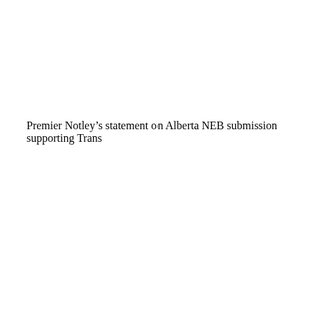Premier Notley's statement on Alberta NEB submission supporting Trans